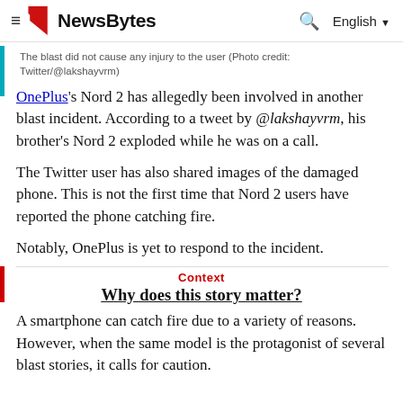NewsByte — English
The blast did not cause any injury to the user (Photo credit: Twitter/@lakshayvrm)
OnePlus's Nord 2 has allegedly been involved in another blast incident. According to a tweet by @lakshayvrm, his brother's Nord 2 exploded while he was on a call.
The Twitter user has also shared images of the damaged phone. This is not the first time that Nord 2 users have reported the phone catching fire.
Notably, OnePlus is yet to respond to the incident.
Context
Why does this story matter?
A smartphone can catch fire due to a variety of reasons. However, when the same model is the protagonist of several blast stories, it calls for caution.